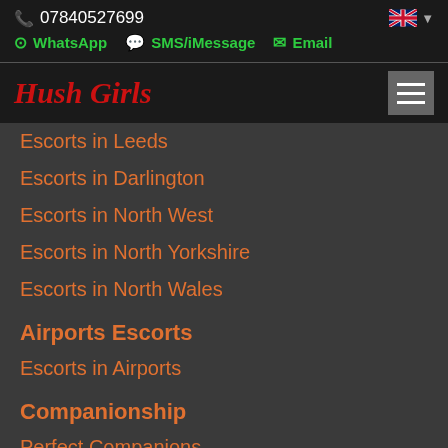07840527699
WhatsApp  SMS/iMessage  Email
Hush Girls
Escorts in Leeds
Escorts in Darlington
Escorts in North West
Escorts in North Yorkshire
Escorts in North Wales
Airports Escorts
Escorts in Airports
Companionship
Perfect Companions